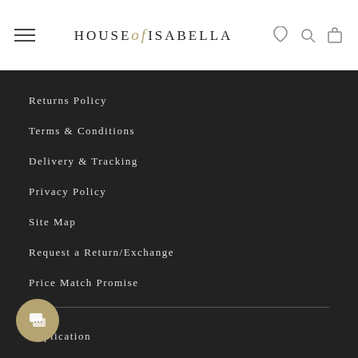HOUSE of ISABELLA
Returns Policy
Terms & Conditions
Delivery & Tracking
Privacy Policy
Site Map
Request a Return/Exchange
Price Match Promise
Application
Blog